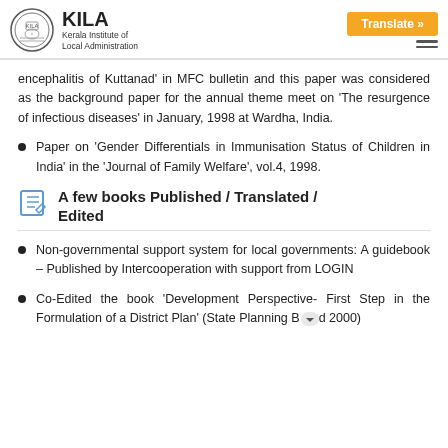KILA - Kerala Institute of Local Administration | Translate »
encephalitis of Kuttanad' in MFC bulletin and this paper was considered as the background paper for the annual theme meet on 'The resurgence of infectious diseases' in January, 1998 at Wardha, India.
Paper on 'Gender Differentials in Immunisation Status of Children in India' in the 'Journal of Family Welfare', vol.4, 1998.
A few books Published / Translated / Edited
Non-governmental support system for local governments: A guidebook – Published by Intercooperation with support from LOGIN
Co-Edited the book 'Development Perspective- First Step in the Formulation of a District Plan' (State Planning Board 2000)